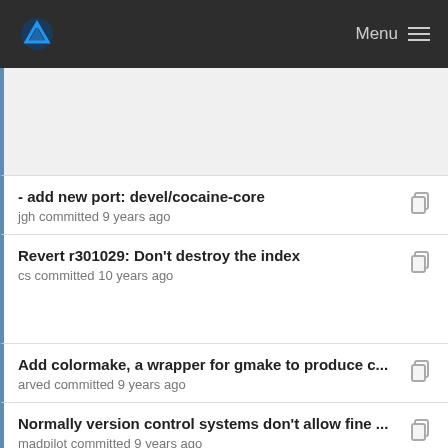Menu
- add new port: devel/cocaine-core
jgh committed 9 years ago
Revert r301029: Don't destroy the index
cs committed 10 years ago
Add colormake, a wrapper for gmake to produce c...
arved committed 9 years ago
Normally version control systems don't allow fine ...
madpilot committed 9 years ago
Add common_lib, a library of Erlang functions use...
olgeni committed 9 years ago
Revert r301029: Don't destroy the ind...